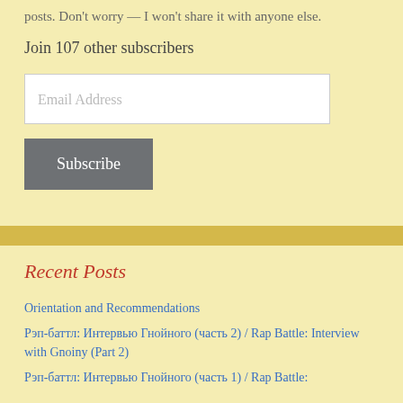posts. Don't worry — I won't share it with anyone else.
Join 107 other subscribers
[Figure (other): Email Address input field (text box)]
[Figure (other): Subscribe button (dark grey)]
Recent Posts
Orientation and Recommendations
Рэп-баттл: Интервью Гнойного (часть 2) / Rap Battle: Interview with Gnoiny (Part 2)
Рэп-баттл: Интервью Гнойного (часть 1) / Rap Battle: Interview with Gnoiny (Part 1)